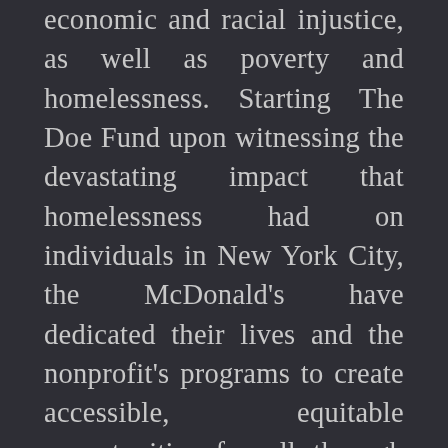economic and racial injustice, as well as poverty and homelessness. Starting The Doe Fund upon witnessing the devastating impact that homelessness had on individuals in New York City, the McDonald's have dedicated their lives and the nonprofit's programs to create accessible, equitable opportunities for all through various work-based programs. Among these programs are initiatives to shelter the homeless in adequate housing, introduce a host of social services to reduce recidivism, and to foster